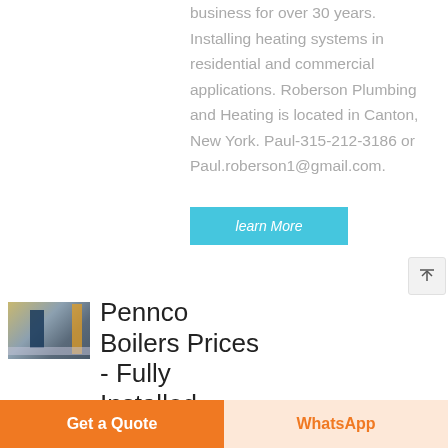business for over 30 years. Installing heating systems in residential and commercial applications. Roberson Plumbing and Heating is located in Canton, New York. Paul-315-212-3186 or Paul.roberson1@gmail.com.
learn More
[Figure (photo): Industrial boiler room interior with yellow scaffolding/ladders and a worker figure, pipes and machinery visible]
Pennco Boilers Prices - Fully Installed
Get a Quote
WhatsApp